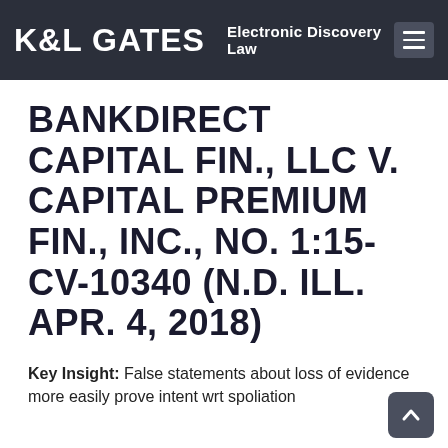K&L GATES  Electronic Discovery Law
BANKDIRECT CAPITAL FIN., LLC V. CAPITAL PREMIUM FIN., INC., NO. 1:15-CV-10340 (N.D. ILL. APR. 4, 2018)
Key Insight: False statements about loss of evidence more easily prove intent wrt spoliation